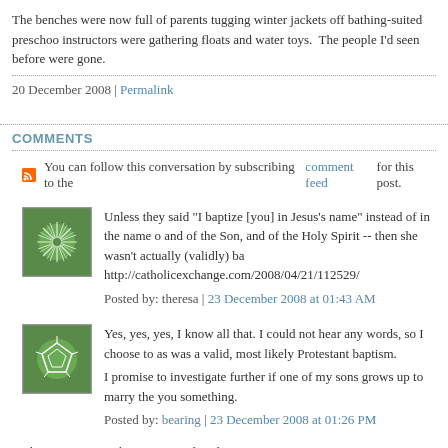The benches were now full of parents tugging winter jackets off bathing-suited preschoo instructors were gathering floats and water toys.  The people I'd seen before were gone.
20 December 2008 | Permalink
COMMENTS
You can follow this conversation by subscribing to the comment feed for this post.
[Figure (illustration): Green avatar icon with white sunburst/radial pattern on green background]
Unless they said "I baptize [you] in Jesus's name" instead of in the name o and of the Son, and of the Holy Spirit -- then she wasn't actually (validly) ba http://catholicexchange.com/2008/04/21/112529/
Posted by: theresa | 23 December 2008 at 01:43 AM
[Figure (illustration): Green avatar icon with white geometric polygon/soccer ball pattern on green background]
Yes, yes, yes, I know all that. I could not hear any words, so I choose to as was a valid, most likely Protestant baptism.

I promise to investigate further if one of my sons grows up to marry the you something.

Posted by: bearing | 23 December 2008 at 01:26 PM
The comments to this entry are closed.